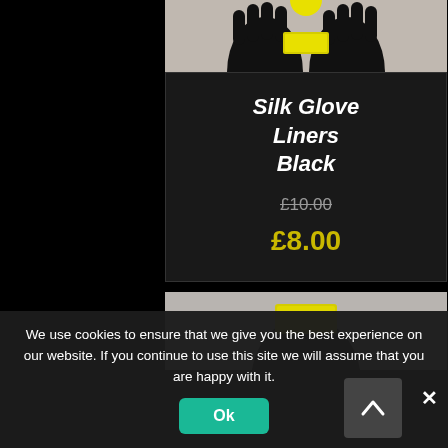[Figure (photo): Top portion of silk glove liners product image — black gloves against white background, yellow label visible]
Silk Glove Liners Black
£10.00
£8.00
[Figure (photo): Bottom portion of second product image — black item with yellow label against grey background]
We use cookies to ensure that we give you the best experience on our website. If you continue to use this site we will assume that you are happy with it.
Ok